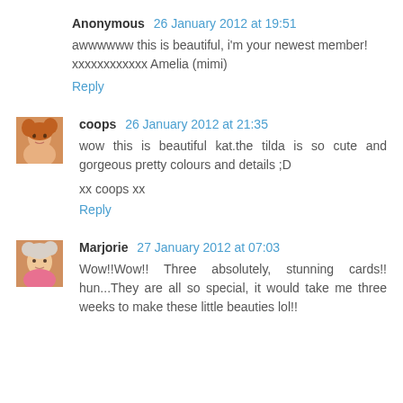Anonymous 26 January 2012 at 19:51
awwwwww this is beautiful, i'm your newest member! xxxxxxxxxxxx Amelia (mimi)
Reply
[Figure (photo): Small avatar photo of coops - woman with reddish hair]
coops 26 January 2012 at 21:35
wow this is beautiful kat.the tilda is so cute and gorgeous pretty colours and details ;D

xx coops xx
Reply
[Figure (photo): Small avatar photo of Marjorie - older woman smiling]
Marjorie 27 January 2012 at 07:03
Wow!!Wow!! Three absolutely, stunning cards!! hun...They are all so special, it would take me three weeks to make these little beauties lol!!